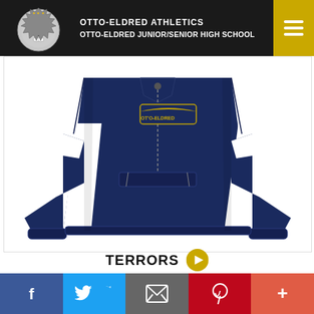OTTO-ELDRED ATHLETICS
OTTO-ELDRED JUNIOR/SENIOR HIGH SCHOOL
[Figure (photo): Navy blue athletic quarter-zip pullover jacket with white stripe accents on sides and sleeves, featuring an Otto-Eldred embroidered logo on the chest. The jacket is displayed on a white background.]
TERRORS
f  Twitter  Email  Pinterest  +